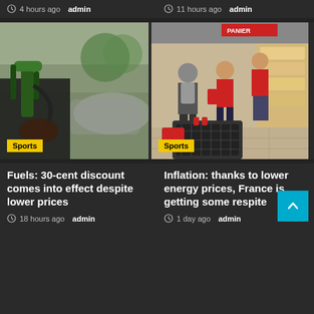4 hours ago  admin
11 hours ago  admin
[Figure (photo): Close-up of a hand holding a green fuel pump nozzle at a gas station]
Sports
[Figure (photo): People shopping in a supermarket aisle with red shopping baskets and cart]
Sports
Fuels: 30-cent discount comes into effect despite lower prices
18 hours ago  admin
Inflation: thanks to lower energy prices, France is getting some respite
1 day ago  admin